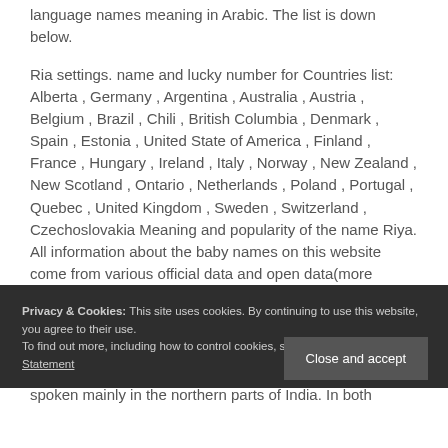language names meaning in Arabic. The list is down below.
Ria settings. name and lucky number for Countries list: Alberta , Germany , Argentina , Australia , Austria , Belgium , Brazil , Chili , British Columbia , Denmark , Spain , Estonia , United State of America , Finland , France , Hungary , Ireland , Italy , Norway , New Zealand , New Scotland , Ontario , Netherlands , Poland , Portugal , Quebec , United Kingdom , Sweden , Switzerland , Czechoslovakia Meaning and popularity of the name Riya. All information about the baby names on this website come from various official data and open data(more information about our sources)  -  0.14 sec. Arabic Boy Names That Are Also Famous In Pakistan,
Privacy & Cookies: This site uses cookies. By continuing to use this website, you agree to their use.
To find out more, including how to control cookies, see here: Cookie & Privacy Statement
spoken mainly in the northern parts of India. In both